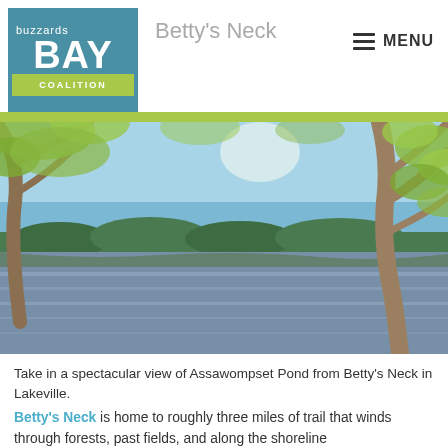Buzzards Bay Coalition — Betty's Neck — MENU
[Figure (photo): Scenic view of Assawompset Pond from Betty's Neck in Lakeville, showing blue water with tree branches in the foreground and forested hills in the background under a blue sky.]
Take in a spectacular view of Assawompset Pond from Betty's Neck in Lakeville.
Betty's Neck is home to roughly three miles of trail that winds through forests, past fields, and along the shoreline